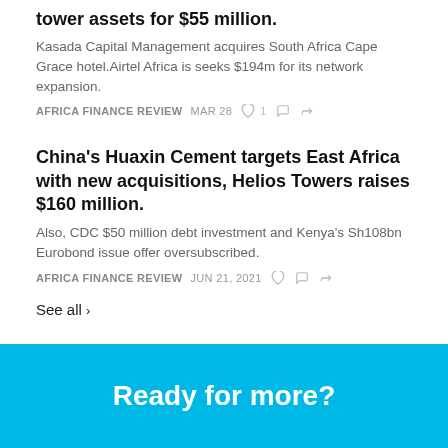tower assets for $55 million.
Kasada Capital Management acquires South Africa Cape Grace hotel.Airtel Africa is seeks $194m for its network expansion.
AFRICA FINANCE REVIEW   MAR 28   ♡ 1   💬   ➦
China's Huaxin Cement targets East Africa with new acquisitions, Helios Towers raises $160 million.
Also, CDC $50 million debt investment and Kenya's Sh108bn Eurobond issue offer oversubscribed.
AFRICA FINANCE REVIEW   JUN 21, 2021   ♡   💬   ➦
See all ›
Ready for more?